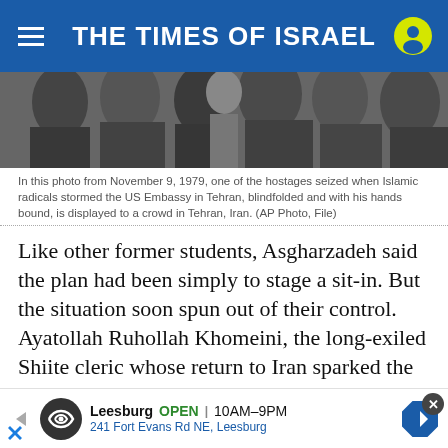THE TIMES OF ISRAEL
[Figure (photo): Black and white photograph showing a blindfolded hostage from the 1979 US Embassy takeover in Tehran, being displayed to a crowd.]
In this photo from November 9, 1979, one of the hostages seized when Islamic radicals stormed the US Embassy in Tehran, blindfolded and with his hands bound, is displayed to a crowd in Tehran, Iran. (AP Photo, File)
Like other former students, Asgharzadeh said the plan had been simply to stage a sit-in. But the situation soon spun out of their control. Ayatollah Ruhollah Khomeini, the long-exiled Shiite cleric whose return to Iran sparked the revolution, gave his support to the takeover. He would use that popular anger to expand the Islamists’ power.
“We, the students. take responsibility for the first 48 ho... Later, it was...